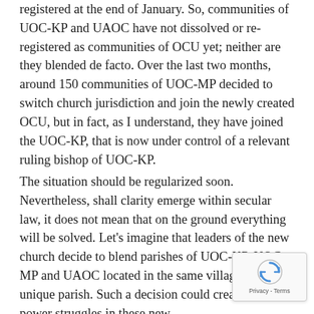registered at the end of January. So, communities of UOC-KP and UAOC have not dissolved or re-registered as communities of OCU yet; neither are they blended de facto. Over the last two months, around 150 communities of UOC-MP decided to switch church jurisdiction and join the newly created OCU, but in fact, as I understand, they have joined the UOC-KP, that is now under control of a relevant ruling bishop of UOC-KP.
The situation should be regularized soon. Nevertheless, shall clarity emerge within secular law, it does not mean that on the ground everything will be solved. Let's imagine that leaders of the new church decide to blend parishes of UOC-KP, UOC-MP and UAOC located in the same village into one unique parish. Such a decision could create serious power struggles in these new…